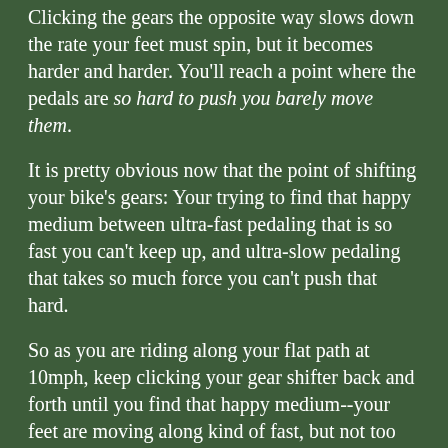Clicking the gears the opposite way slows down the rate your feet must spin, but it becomes harder and harder. You'll reach a point where the pedals are so hard to push you barely move them.
It is pretty obvious now that the point of shifting your bike's gears: Your trying to find that happy medium between ultra-fast pedaling that is so fast you can't keep up, and ultra-slow pedaling that takes so much force you can't push that hard.
So as you are riding along your flat path at 10mph, keep clicking your gear shifter back and forth until you find that happy medium--your feet are moving along kind of fast, but not too fast, and they are pushing a little with each turn of the pedals, but not pushing so hard you'll soon wear yourself out.
You'll probably find you can pedal along just fine in at least 3